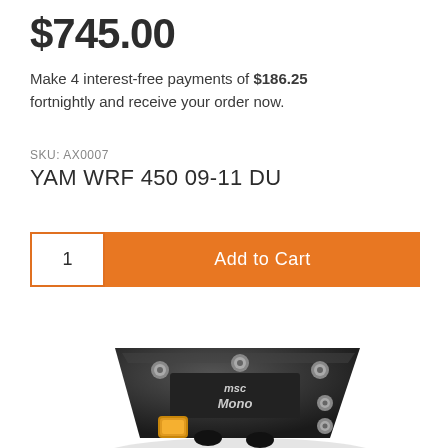$745.00
Make 4 interest-free payments of $186.25 fortnightly and receive your order now.
SKU: AX0007
YAM WRF 450 09-11 DU
1  Add to Cart
[Figure (photo): Black MSC Moto motorcycle engine part/component with gold-colored valve and silver bolts, viewed from an angle.]